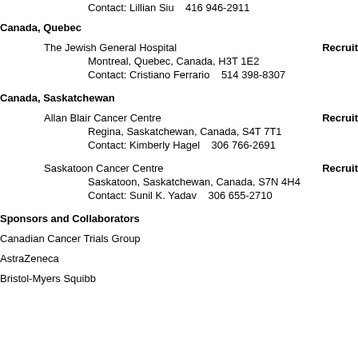Contact: Lillian Siu    416 946-2911
Canada, Quebec
The Jewish General Hospital
Montreal, Quebec, Canada, H3T 1E2
Contact: Cristiano Ferrario    514 398-8307
Canada, Saskatchewan
Allan Blair Cancer Centre
Regina, Saskatchewan, Canada, S4T 7T1
Contact: Kimberly Hagel    306 766-2691
Saskatoon Cancer Centre
Saskatoon, Saskatchewan, Canada, S7N 4H4
Contact: Sunil K. Yadav    306 655-2710
Sponsors and Collaborators
Canadian Cancer Trials Group
AstraZeneca
Bristol-Myers Squibb